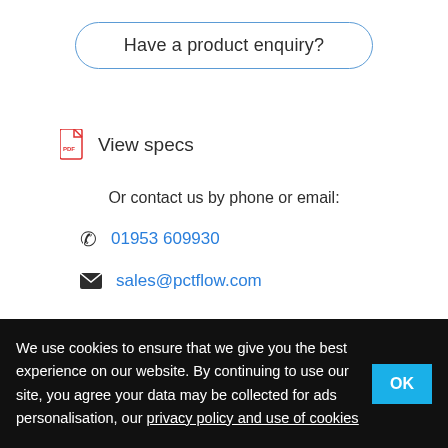Have a product enquiry?
View specs
Or contact us by phone or email:
01953 609930
sales@pctflow.com
We use cookies to ensure that we give you the best experience on our website. By continuing to use our site, you agree your data may be collected for ads personalisation, our privacy policy and use of cookies